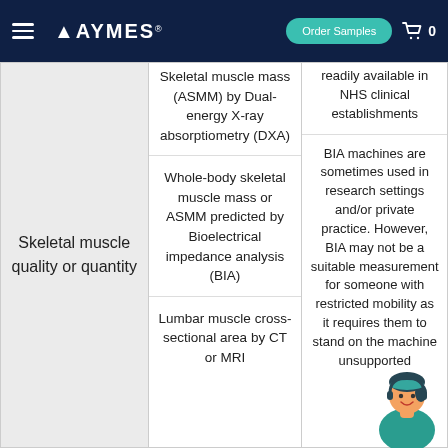AYMES | Order Samples | Cart 0
| Category | Measurement Method | Notes |
| --- | --- | --- |
| Skeletal muscle quality or quantity | Skeletal muscle mass (ASMM) by Dual-energy X-ray absorptiometry (DXA)
Whole-body skeletal muscle mass or ASMM predicted by Bioelectrical impedance analysis (BIA)
Lumbar muscle cross-sectional area by CT or MRI | readily available in NHS clinical establishments
BIA machines are sometimes used in research settings and/or private practice. However, BIA may not be a suitable measurement for someone with restricted mobility as it requires them to stand on the machine unsupported |